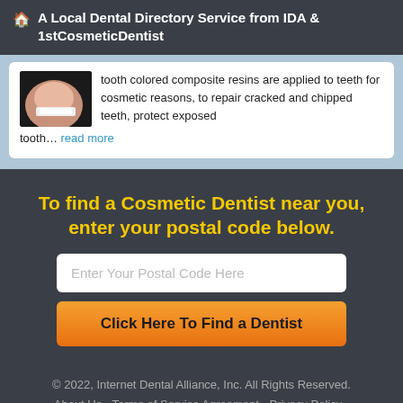🏠 A Local Dental Directory Service from IDA & 1stCosmeticDentist
...tooth composites resins are applied to teeth for cosmetic reasons, to repair cracked and chipped teeth, protect exposed tooth… read more
To find a Cosmetic Dentist near you, enter your postal code below.
Enter Your Postal Code Here
Click Here To Find a Dentist
© 2022, Internet Dental Alliance, Inc. All Rights Reserved.
About Us - Terms of Service Agreement - Privacy Policy - Accessibility Statement - Doctor Registration